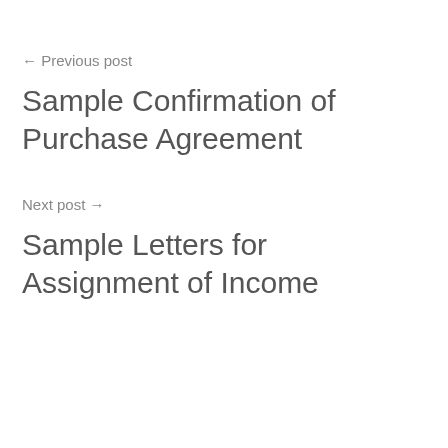← Previous post
Sample Confirmation of Purchase Agreement
Next post →
Sample Letters for Assignment of Income